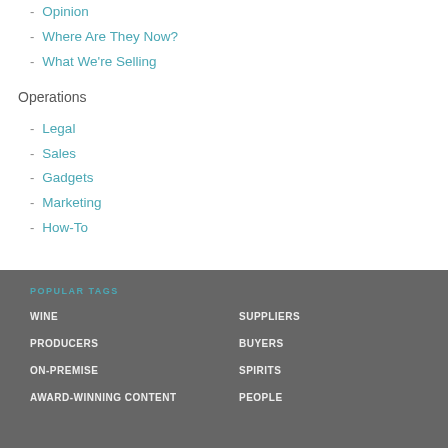- Opinion
- Where Are They Now?
- What We're Selling
Operations
- Legal
- Sales
- Gadgets
- Marketing
- How-To
POPULAR TAGS
WINE
SUPPLIERS
PRODUCERS
BUYERS
ON-PREMISE
SPIRITS
AWARD-WINNING CONTENT
PEOPLE